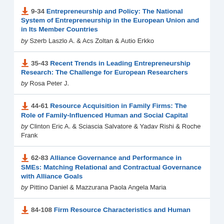9-34 Entrepreneurship and Policy: The National System of Entrepreneurship in the European Union and in Its Member Countries by Szerb Laszlo A. & Acs Zoltan & Autio Erkko
35-43 Recent Trends in Leading Entrepreneurship Research: The Challenge for European Researchers by Rosa Peter J.
44-61 Resource Acquisition in Family Firms: The Role of Family-Influenced Human and Social Capital by Clinton Eric A. & Sciascia Salvatore & Yadav Rishi & Roche Frank
62-83 Alliance Governance and Performance in SMEs: Matching Relational and Contractual Governance with Alliance Goals by Pittino Daniel & Mazzurana Paola Angela Maria
84-108 Firm Resource Characteristics and Human...